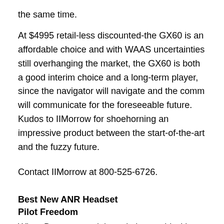the same time.
At $4995 retail-less discounted-the GX60 is an affordable choice and with WAAS uncertainties still overhanging the market, the GX60 is both a good interim choice and a long-term player, since the navigator will navigate and the comm will communicate for the foreseeable future. Kudos to IIMorrow for shoehorning an impressive product between the start-of-the-art and the fuzzy future.
Contact IIMorrow at 800-525-6726.
Best New ANR Headset
Pilot Freedom
When Bose stunned the aviation world with active noise canceling headsets seven years ago (yes, its been that long), this product occupied the near edge of exotica. At a grand a